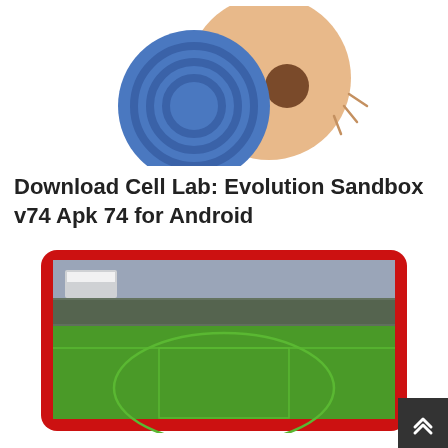[Figure (illustration): Cell Lab Evolution Sandbox app icon illustration: two circular cells, one blue/dark blue and one peach/tan colored, overlapping slightly against a white background]
Download Cell Lab: Evolution Sandbox v74 Apk 74 for Android
[Figure (photo): Photo of a cricket stadium with green grass field, stadium seating filled with spectators, overcast sky. The photo is framed with a thick red rounded-rectangle border.]
GHD Sports APK Download (Latest Version)